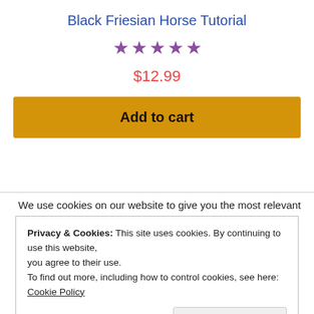Black Friesian Horse Tutorial
★★★★★
$12.99
Add to cart
We use cookies on our website to give you the most relevant
Privacy & Cookies: This site uses cookies. By continuing to use this website, you agree to their use.
To find out more, including how to control cookies, see here: Cookie Policy
Close and accept